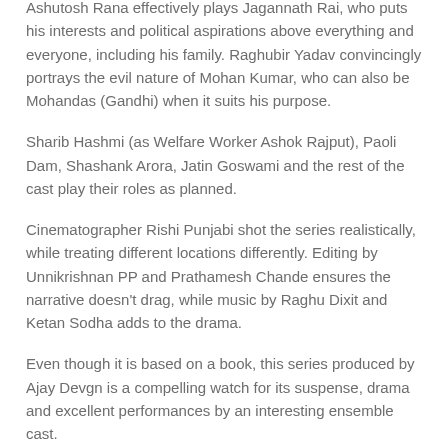Ashutosh Rana effectively plays Jagannath Rai, who puts his interests and political aspirations above everything and everyone, including his family. Raghubir Yadav convincingly portrays the evil nature of Mohan Kumar, who can also be Mohandas (Gandhi) when it suits his purpose.
Sharib Hashmi (as Welfare Worker Ashok Rajput), Paoli Dam, Shashank Arora, Jatin Goswami and the rest of the cast play their roles as planned.
Cinematographer Rishi Punjabi shot the series realistically, while treating different locations differently. Editing by Unnikrishnan PP and Prathamesh Chande ensures the narrative doesn't drag, while music by Raghu Dixit and Ketan Sodha adds to the drama.
Even though it is based on a book, this series produced by Ajay Devgn is a compelling watch for its suspense, drama and excellent performances by an interesting ensemble cast.